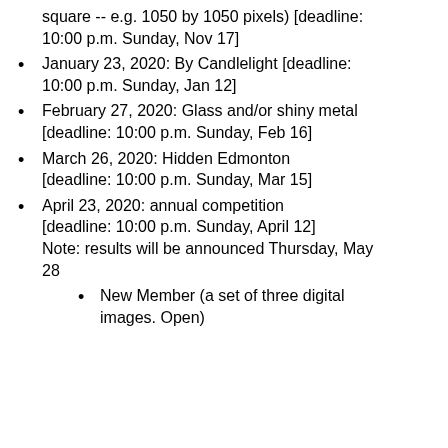square -- e.g. 1050 by 1050 pixels) [deadline: 10:00 p.m. Sunday, Nov 17]
January 23, 2020: By Candlelight [deadline: 10:00 p.m. Sunday, Jan 12]
February 27, 2020: Glass and/or shiny metal [deadline: 10:00 p.m. Sunday, Feb 16]
March 26, 2020: Hidden Edmonton [deadline: 10:00 p.m. Sunday, Mar 15]
April 23, 2020: annual competition [deadline: 10:00 p.m. Sunday, April 12] Note: results will be announced Thursday, May 28
New Member (a set of three digital images. Open)